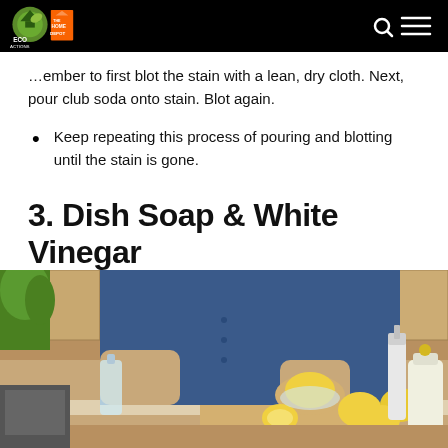ECO ACTIONS / THE HOME DEPOT
…ember to first blot the stain with a lean, dry cloth. Next, pour club soda onto stain. Blot again.
Keep repeating this process of pouring and blotting until the stain is gone.
3. Dish Soap & White Vinegar
[Figure (photo): Person in blue shirt juicing lemons on a cutting board in a kitchen, with glass bottles and a spray bottle nearby]